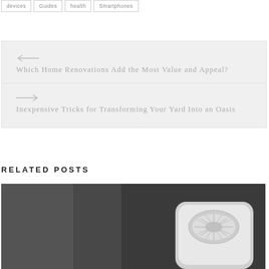devices
Guides
health
Smartphones
← Which Home Renovations Add the Most Value and Appeal?
→ Inexpensive Tricks for Transforming Your Yard Into an Oasis
RELATED POSTS
[Figure (photo): Photo of a white air purifier device on a dark background]